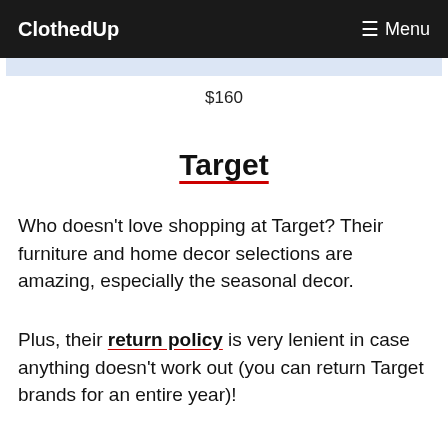ClothedUp   ☰ Menu
$160
Target
Who doesn't love shopping at Target? Their furniture and home decor selections are amazing, especially the seasonal decor.
Plus, their return policy is very lenient in case anything doesn't work out (you can return Target brands for an entire year)!